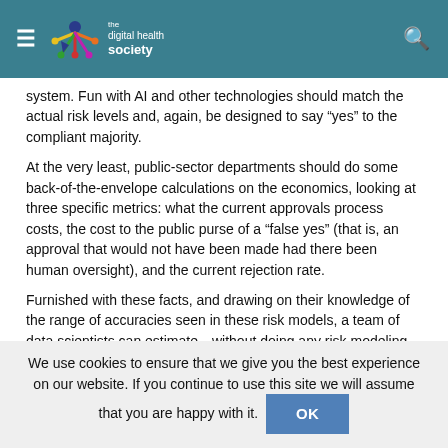the digital health society
system. Fun with AI and other technologies should match the actual risk levels and, again, be designed to say “yes” to the compliant majority.
At the very least, public-sector departments should do some back-of-the-envelope calculations on the economics, looking at three specific metrics: what the current approvals process costs, the cost to the public purse of a “false yes” (that is, an approval that would not have been made had there been human oversight), and the current rejection rate.
Furnished with these facts, and drawing on their knowledge of the range of accuracies seen in these risk models, a team of data scientists can estimate—without doing any risk modeling—whether savings are possible. Although lower cost is only one of the benefits sought (speed being the other), this calculation is
We use cookies to ensure that we give you the best experience on our website. If you continue to use this site we will assume that you are happy with it.